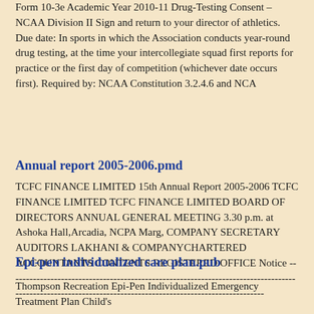Form 10-3e Academic Year 2010-11 Drug-Testing Consent – NCAA Division II Sign and return to your director of athletics. Due date: In sports in which the Association conducts year-round drug testing, at the time your intercollegiate squad first reports for practice or the first day of competition (whichever date occurs first). Required by: NCAA Constitution 3.2.4.6 and NCA
Annual report 2005-2006.pmd
TCFC FINANCE LIMITED 15th Annual Report 2005-2006 TCFC FINANCE LIMITED TCFC FINANCE LIMITED BOARD OF DIRECTORS ANNUAL GENERAL MEETING 3.30 p.m. at Ashoka Hall,Arcadia, NCPA Marg, COMPANY SECRETARY AUDITORS LAKHANI & COMPANYCHARTERED ACCOUNTANTS CONTENTS REGISTERED OFFICE Notice ----------------------------------------------------------------------------------------------------------------------------------------------------------
Epi-pen individualized care plan.pub
Thompson Recreation Epi-Pen Individualized Emergency Treatment Plan Child's